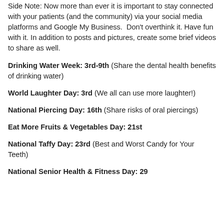Side Note: Now more than ever it is important to stay connected with your patients (and the community) via your social media platforms and Google My Business. Don't overthink it. Have fun with it. In addition to posts and pictures, create some brief videos to share as well.
Drinking Water Week: 3rd-9th (Share the dental health benefits of drinking water)
World Laughter Day: 3rd (We all can use more laughter!)
National Piercing Day: 16th (Share risks of oral piercings)
Eat More Fruits & Vegetables Day: 21st
National Taffy Day: 23rd (Best and Worst Candy for Your Teeth)
National Senior Health & Fitness Day: 29